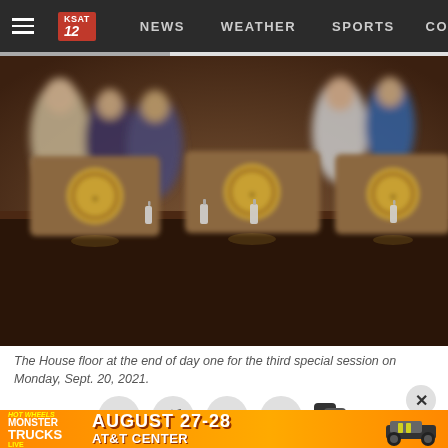NEWS  WEATHER  SPORTS  CO
[Figure (photo): The Texas House floor with leather chairs bearing the State of Texas seal, empty at the end of day one of the third special session, Monday Sept. 20, 2021. People are visible in the blurred background.]
The House floor at the end of day one for the third special session on Monday, Sept. 20, 2021.
[Figure (infographic): Social media share buttons: Facebook, Twitter, Email, and a comment/chat icon, with a close (X) button.]
[Figure (infographic): Hot Wheels Monster Trucks Live advertisement banner: AUGUST 27-28, AT&T CENTER, with monster truck graphic on orange background.]